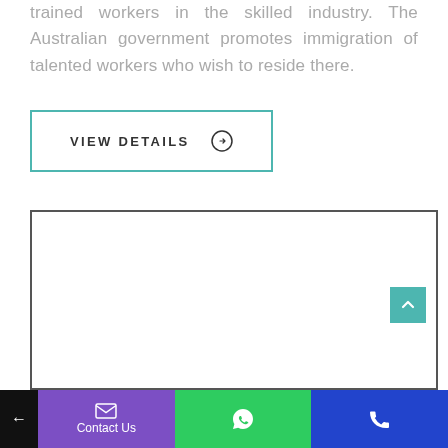trained workers in the skilled industry. The Australian government promotes immigration of talented workers who wish to reside there.
VIEW DETAILS →
[Figure (other): A large white rectangular content box with a dark border, containing an inner white area. A teal scroll-to-top button is visible at the bottom right corner of the box.]
← | Contact Us (email) | WhatsApp | Phone